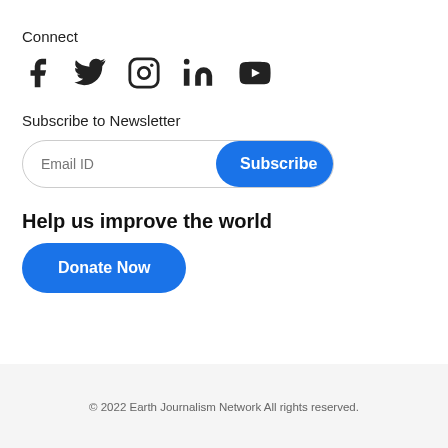Connect
[Figure (illustration): Social media icons: Facebook, Twitter, Instagram, LinkedIn, YouTube]
Subscribe to Newsletter
[Figure (infographic): Email subscription input field with placeholder 'Email ID' and a blue 'Subscribe' button]
Help us improve the world
[Figure (infographic): Blue rounded 'Donate Now' button]
© 2022 Earth Journalism Network All rights reserved.